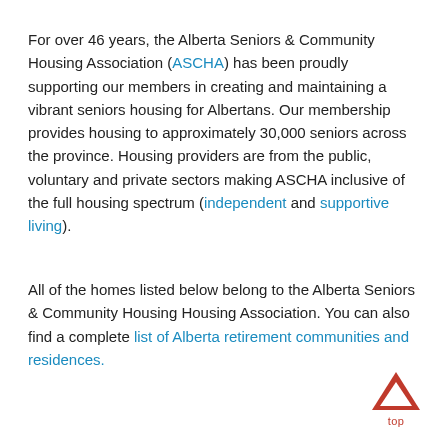For over 46 years, the Alberta Seniors & Community Housing Association (ASCHA) has been proudly supporting our members in creating and maintaining a vibrant seniors housing for Albertans. Our membership provides housing to approximately 30,000 seniors across the province. Housing providers are from the public, voluntary and private sectors making ASCHA inclusive of the full housing spectrum (independent and supportive living).
All of the homes listed below belong to the Alberta Seniors & Community Housing Housing Association. You can also find a complete list of Alberta retirement communities and residences.